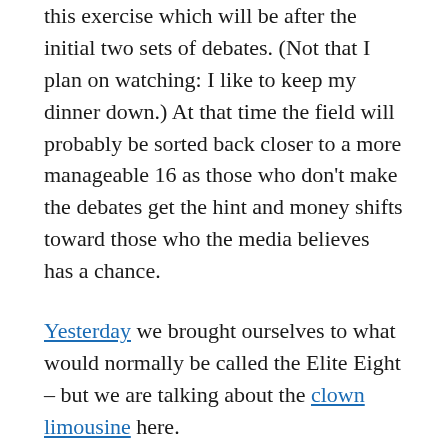this exercise which will be after the initial two sets of debates. (Not that I plan on watching: I like to keep my dinner down.) At that time the field will probably be sorted back closer to a more manageable 16 as those who don't make the debates get the hint and money shifts toward those who the media believes has a chance.
Yesterday we brought ourselves to what would normally be called the Elite Eight – but we are talking about the clown limousine here.
So let's see how this shakes out to find a winner, shall we?
#5 Beto O'Rourke (46, former U.S.